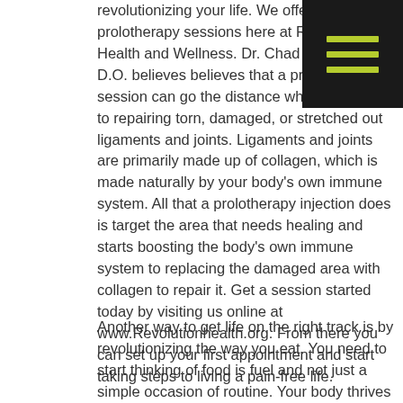[Figure (other): Dark square menu icon with three horizontal lime-green bars]
revolutionizing your life. We offer prolotherapy sessions here at Revolution Health and Wellness. Dr. Chad Edwards, D.O. believes believes that a prolotherapy session can go the distance when it comes to repairing torn, damaged, or stretched out ligaments and joints. Ligaments and joints are primarily made up of collagen, which is made naturally by your body's own immune system. All that a prolotherapy injection does is target the area that needs healing and starts boosting the body's own immune system to replacing the damaged area with collagen to repair it. Get a session started today by visiting us online at www.Revolutionhealth.org. From there you can set up your first appointment and start taking steps to living a pain-free life.
Another way to get life on the right track is by revolutionizing the way you eat. You need to start thinking of food is fuel and not just a simple occasion of routine. Your body thrives on what you put into it. If